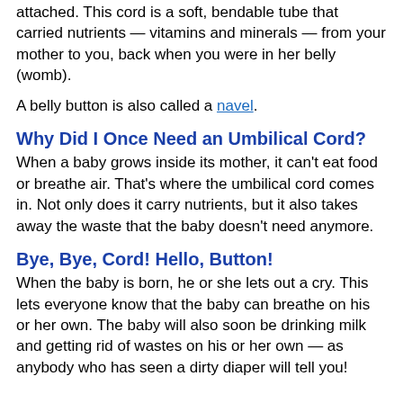attached. This cord is a soft, bendable tube that carried nutrients — vitamins and minerals — from your mother to you, back when you were in her belly (womb).
A belly button is also called a navel.
Why Did I Once Need an Umbilical Cord?
When a baby grows inside its mother, it can't eat food or breathe air. That's where the umbilical cord comes in. Not only does it carry nutrients, but it also takes away the waste that the baby doesn't need anymore.
Bye, Bye, Cord! Hello, Button!
When the baby is born, he or she lets out a cry. This lets everyone know that the baby can breathe on his or her own. The baby will also soon be drinking milk and getting rid of wastes on his or her own — as anybody who has seen a dirty diaper will tell you!